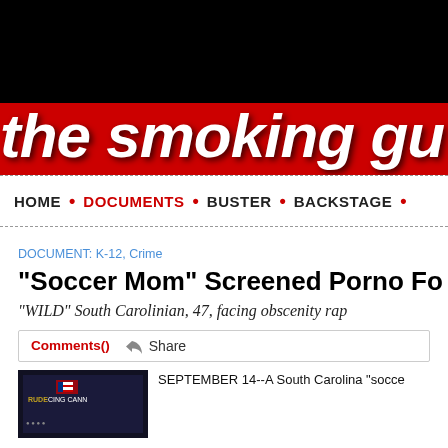the smoking gu
HOME • DOCUMENTS • BUSTER • BACKSTAGE •
DOCUMENT: K-12, Crime
"Soccer Mom" Screened Porno Fo
"WILD" South Carolinian, 47, facing obscenity rap
Comments() Share
SEPTEMBER 14--A South Carolina "socce